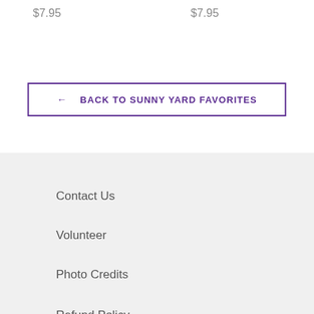$7.95
$7.95
← BACK TO SUNNY YARD FAVORITES
Contact Us
Volunteer
Photo Credits
Refund Policy